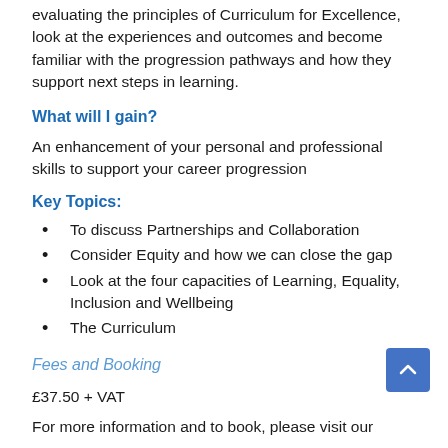evaluating the principles of Curriculum for Excellence, look at the experiences and outcomes and become familiar with the progression pathways and how they support next steps in learning.
What will I gain?
An enhancement of your personal and professional skills to support your career progression
Key Topics:
To discuss Partnerships and Collaboration
Consider Equity and how we can close the gap
Look at the four capacities of Learning, Equality, Inclusion and Wellbeing
The Curriculum
Fees and Booking
£37.50 + VAT
For more information and to book, please visit our